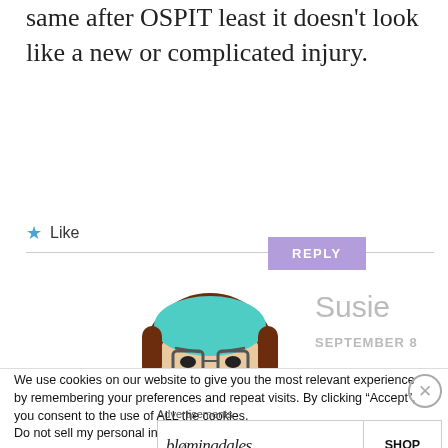same after OSPIT least it doesn't look like a new or complicated injury.
Like
REPLY
[Figure (illustration): Avatar emoji of a person with teal headband and glasses, brown hair, with a grumpy expression]
Susie
SEPTEMBER 8
We use cookies on our website to give you the most relevant experience by remembering your preferences and repeat visits. By clicking “Accept”, you consent to the use of ALL the cookies.
Do not sell my personal information
Advertisements
[Figure (other): Bloomingdales advertisement with logo, woman in hat, and Shop Now button. Text: bloomingdales, View Today's Top Deals!, SHOP NOW >]